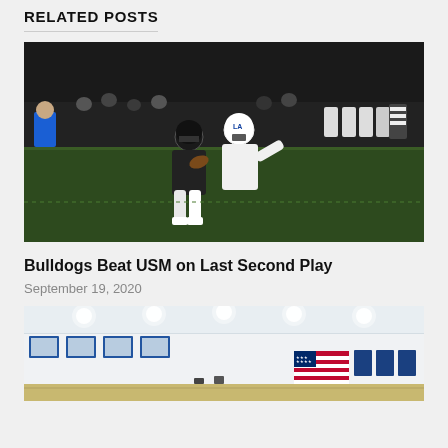RELATED POSTS
[Figure (photo): Football game action shot: player in dark uniform carrying ball while being tackled by player in white uniform with Louisiana Tech helmet; referees and other players in background on night game field]
Bulldogs Beat USM on Last Second Play
September 19, 2020
[Figure (photo): Interior of a gymnasium with bright overhead lights, blue-framed windows along back wall, American flag and team banners hanging on white walls]